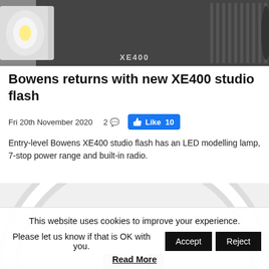[Figure (photo): Top portion of a Bowens XE400 studio flash unit, dark grey/black body with XE400 text visible]
Bowens returns with new XE400 studio flash
Fri 20th November 2020    2 💬   👍 Like 10
Entry-level Bowens XE400 studio flash has an LED modelling lamp, 7-stop power range and built-in radio.
[Figure (photo): Close-up of what appears to be a circular reflector or softbox accessory for the Bowens XE400 flash, showing the rim/edge detail]
This website uses cookies to improve your experience. Please let us know if that is OK with you.
Read More